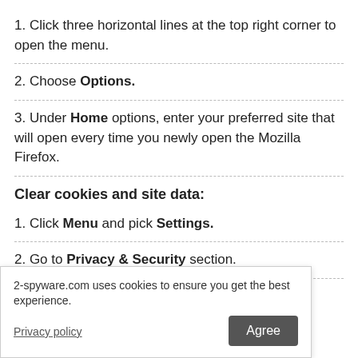1. Click three horizontal lines at the top right corner to open the menu.
2. Choose Options.
3. Under Home options, enter your preferred site that will open every time you newly open the Mozilla Firefox.
Clear cookies and site data:
1. Click Menu and pick Settings.
2. Go to Privacy & Security section.
3. [partially hidden] ...Data.
2-spyware.com uses cookies to ensure you get the best experience.
Privacy policy
Agree